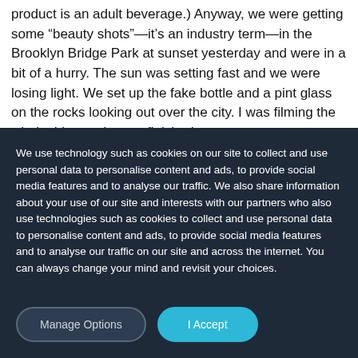product is an adult beverage.) Anyway, we were getting some “beauty shots”—it’s an industry term—in the Brooklyn Bridge Park at sunset yesterday and were in a bit of a hurry. The sun was setting fast and we were losing light. We set up the fake bottle and a pint glass on the rocks looking out over the city. I was filming the whole thing and some finished our
We use technology such as cookies on our site to collect and use personal data to personalise content and ads, to provide social media features and to analyse our traffic. We also share information about your use of our site and interests with our partners who also use technologies such as cookies to collect and use personal data to personalise content and ads, to provide social media features and to analyse our traffic on our site and across the internet. You can always change your mind and revisit your choices.